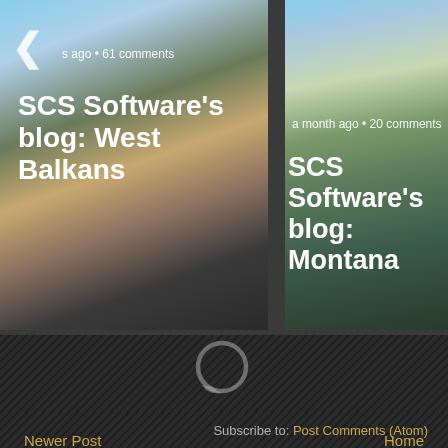[Figure (screenshot): Left blog card showing 'SCS Software's blog: West Balkans' with a street scene photo, metadata 's ago • 61 comments']
s ago • 61 comments
SCS Software's blog: West Balkans
[Figure (screenshot): Right blog card showing 'SCS Software's blog: Montana' with a mountain scene photo, metadata 'a month ago • 20 comments']
a month ago • 20 comments
SCS Software's blog: Montana
[Figure (illustration): Gray speech bubble / comment icon]
Newer Post
Home
View mobile version
Subscribe to: Post Comments (Atom)